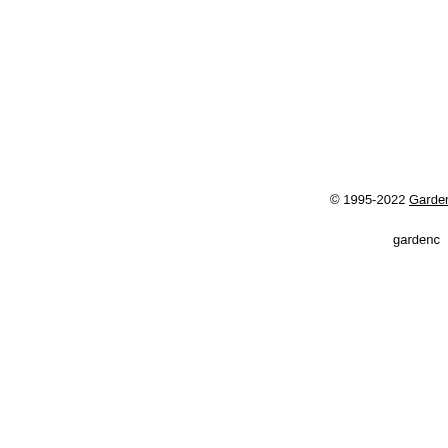© 1995-2022 Garden City Outlet   2307 N. VF   gardenc